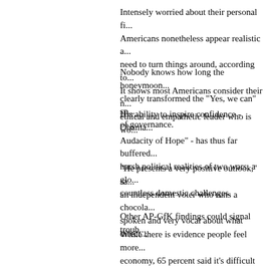Intensely worried about their personal fi... Americans nonetheless appear realistic a... need to turn things around, according to... It shows most Americans consider their n... ethical and empathetic leader who is wo...
Nobody knows how long the honeymoon... clearly transformed the "Yes, we can" sp... of governance.
His ability to inspire confidence - Obama... Audacity of Hope" - has thus far buffered... harsh political realities of two wars, a glo... countless domestic challenges.
"He presents a very positive outlook," sa... an independent voter who runs a chocola... spoken and very vocal about what direct...
Other AP-GfK findings could signal troub...
While there is evidence people feel more... economy, 65 percent said it's difficult for... ahead. More than a third know of a famil... job.